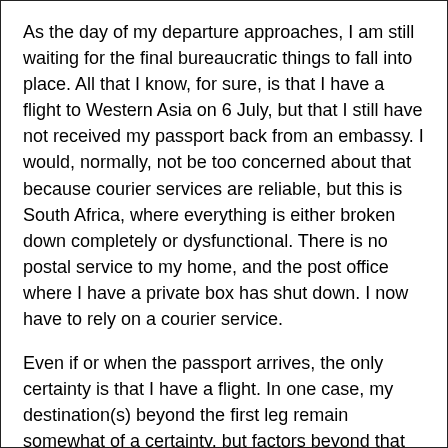As the day of my departure approaches, I am still waiting for the final bureaucratic things to fall into place. All that I know, for sure, is that I have a flight to Western Asia on 6 July, but that I still have not received my passport back from an embassy. I would, normally, not be too concerned about that because courier services are reliable, but this is South Africa, where everything is either broken down completely or dysfunctional. There is no postal service to my home, and the post office where I have a private box has shut down. I now have to rely on a courier service.
Even if or when the passport arrives, the only certainty is that I have a flight. In one case, my destination(s) beyond the first leg remain somewhat of a certainty, but factors beyond that remain unconfirmed. The great thing is that it's not a Schengen area, or North America where you're treated like a barbarian or a cannibal bent on destroying Western Civilisation (whatever that may mean)...
I am relieved that the marketing and promotion part of the book is done – unless I have basically cancelled or declined